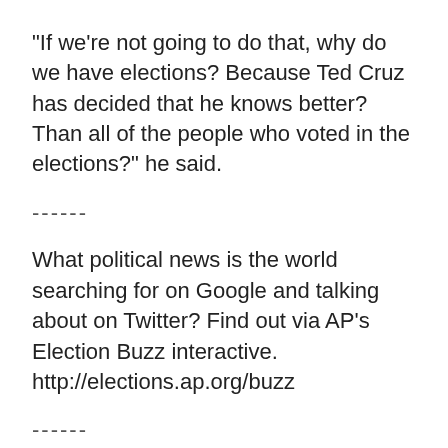"If we're not going to do that, why do we have elections? Because Ted Cruz has decided that he knows better? Than all of the people who voted in the elections?" he said.
------
What political news is the world searching for on Google and talking about on Twitter? Find out via AP's Election Buzz interactive. http://elections.ap.org/buzz
------
Associated Press writers Vivian Salama and Sam Hananel contributed to this report from Washington. Follow Thomas Beaumont and Steve Peoples on